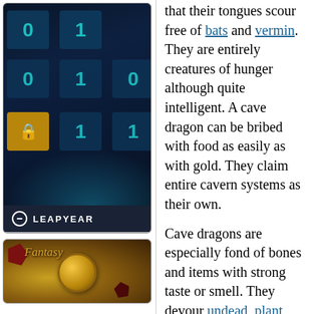[Figure (photo): Close-up photo of illuminated keyboard keys showing 0 and 1 digits in cyan on a dark blue background, with one golden/yellow key]
[Figure (logo): Leapyear logo - dark navy bar with white globe icon and text LEAPYEAR in uppercase]
[Figure (photo): Fantasy-themed image showing dice, coins, and the word Fantasy in decorative text]
that their tongues scour free of bats and vermin. They are entirely creatures of hunger although quite intelligent. A cave dragon can be bribed with food as easily as with gold. They claim entire cavern systems as their own.
Cave dragons are especially fond of bones and items with strong taste or smell. They devour undead, plant creatures, or anything organic. When feeding, they treat all nearby creatures as a threat. Limited food deep underground means fewer age categories. The eldest die of starvation. A few escape to the surface, but lack of flight and sunlight weakness means that